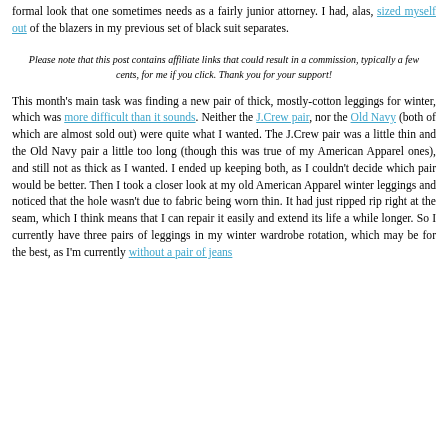formal look that one sometimes needs as a fairly junior attorney. I had, alas, sized myself out of the blazers in my previous set of black suit separates.
Please note that this post contains affiliate links that could result in a commission, typically a few cents, for me if you click. Thank you for your support!
This month's main task was finding a new pair of thick, mostly-cotton leggings for winter, which was more difficult than it sounds. Neither the J.Crew pair, nor the Old Navy (both of which are almost sold out) were quite what I wanted. The J.Crew pair was a little thin and the Old Navy pair a little too long (though this was true of my American Apparel ones), and still not as thick as I wanted. I ended up keeping both, as I couldn't decide which pair would be better. Then I took a closer look at my old American Apparel winter leggings and noticed that the hole wasn't due to fabric being worn thin. It had just ripped rip right at the seam, which I think means that I can repair it easily and extend its life a while longer. So I currently have three pairs of leggings in my winter wardrobe rotation, which may be for the best, as I'm currently without a pair of jeans.